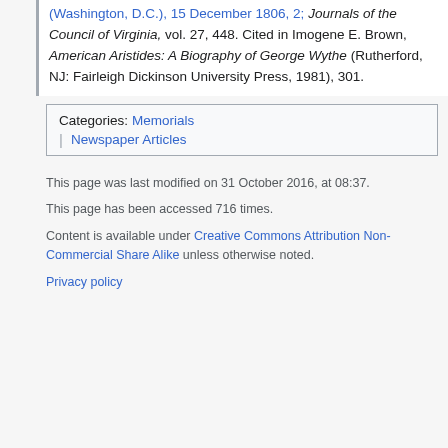(Washington, D.C.), 15 December 1806, 2; Journals of the Council of Virginia, vol. 27, 448. Cited in Imogene E. Brown, American Aristides: A Biography of George Wythe (Rutherford, NJ: Fairleigh Dickinson University Press, 1981), 301.
Categories: Memorials | Newspaper Articles
This page was last modified on 31 October 2016, at 08:37.
This page has been accessed 716 times.
Content is available under Creative Commons Attribution Non-Commercial Share Alike unless otherwise noted.
Privacy policy